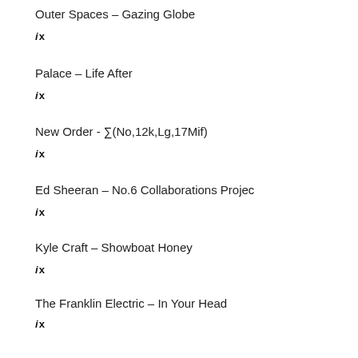Outer Spaces – Gazing Globe
ix
Palace – Life After
ix
New Order - ∑(No,12k,Lg,17Mif)
ix
Ed Sheeran – No.6 Collaborations Projec
ix
Kyle Craft – Showboat Honey
ix
The Franklin Electric – In Your Head
ix
2019 juli week 29
Julian Taylor Band - Avalanche